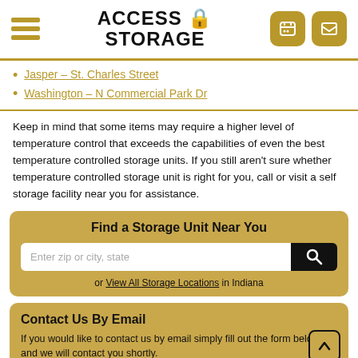Access Storage
Jasper – St. Charles Street
Washington – N Commercial Park Dr
Keep in mind that some items may require a higher level of temperature control that exceeds the capabilities of even the best temperature controlled storage units. If you still aren't sure whether temperature controlled storage unit is right for you, call or visit a self storage facility near you for assistance.
Find a Storage Unit Near You
or View All Storage Locations in Indiana
Contact Us By Email
If you would like to contact us by email simply fill out the form below and we will contact you shortly.